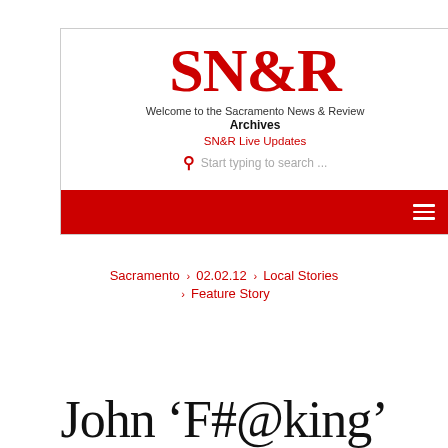[Figure (logo): SN&R logo with red SN and R, black ampersand, serif bold font]
Welcome to the Sacramento News & Review
Archives
SN&R Live Updates
Start typing to search ...
Sacramento › 02.02.12 › Local Stories › Feature Story
John 'F#@king'